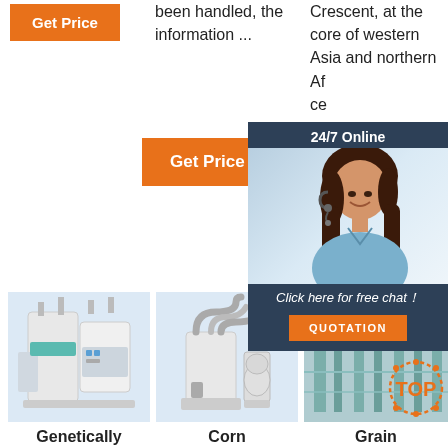[Figure (other): Orange 'Get Price' button, top left]
been handled, the information ...
Crescent, at the core of western Asia and northern Af... ce ar
[Figure (other): Orange 'Get Price' button, middle]
[Figure (other): 24/7 Online chat widget with woman wearing headset, 'Click here for free chat!' text, and orange QUOTATION button]
[Figure (photo): Industrial grain/rice milling machine, white, on light blue background]
[Figure (photo): Corn milling machine with pipes and bags, on light blue background]
[Figure (photo): Grain processing facility interior with green/teal machinery, with TOP badge overlay]
Genetically
Corn
Grain